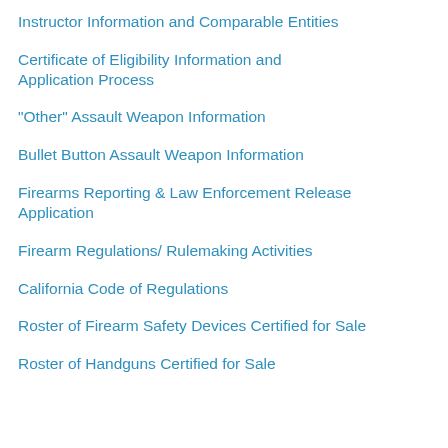Instructor Information and Comparable Entities
Certificate of Eligibility Information and Application Process
"Other" Assault Weapon Information
Bullet Button Assault Weapon Information
Firearms Reporting & Law Enforcement Release Application
Firearm Regulations/ Rulemaking Activities
California Code of Regulations
Roster of Firearm Safety Devices Certified for Sale
Roster of Handguns Certified for Sale